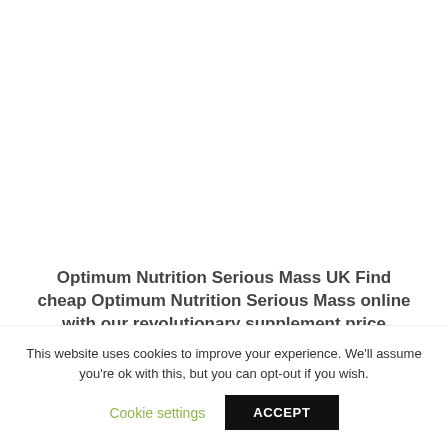Optimum Nutrition Serious Mass UK Find cheap Optimum Nutrition Serious Mass online with our revolutionary supplement price comparison
This website uses cookies to improve your experience. We'll assume you're ok with this, but you can opt-out if you wish.
Cookie settings
ACCEPT